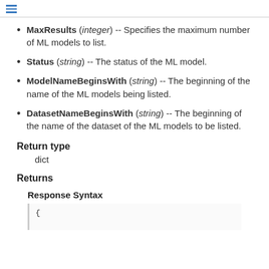≡
MaxResults (integer) -- Specifies the maximum number of ML models to list.
Status (string) -- The status of the ML model.
ModelNameBeginsWith (string) -- The beginning of the name of the ML models being listed.
DatasetNameBeginsWith (string) -- The beginning of the name of the dataset of the ML models to be listed.
Return type
dict
Returns
Response Syntax
{